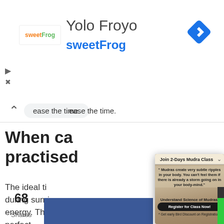[Figure (screenshot): sweetFrog ad banner with logo, 'Yolo Froyo' title, 'sweetFrog' subtitle in blue, and a blue navigation diamond icon on the right]
ease the time.
When ca practised
The ideal ti during sunri energy. Thu perfect.
[Figure (screenshot): Popup overlay card: 'Join 2-Days Mudra Class' header with chevron. Quote: '" Mudras create very subtle ripples in your body. You can't feel them if there is already a storm going on in your body-mind."' followed by 'Understand Science of Mudras.' and 'Register for Class Now!' button and '* Get early Bird Discount on Registration.']
68 Shares